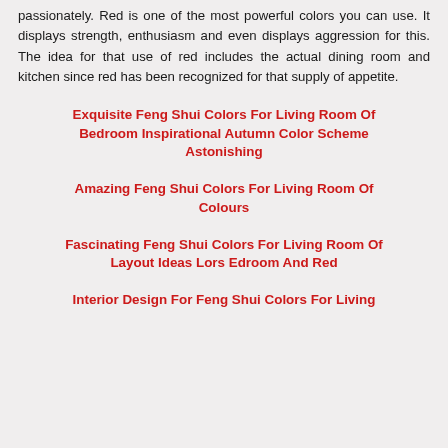passionately. Red is one of the most powerful colors you can use. It displays strength, enthusiasm and even displays aggression for this. The idea for that use of red includes the actual dining room and kitchen since red has been recognized for that supply of appetite.
Exquisite Feng Shui Colors For Living Room Of Bedroom Inspirational Autumn Color Scheme Astonishing
Amazing Feng Shui Colors For Living Room Of Colours
Fascinating Feng Shui Colors For Living Room Of Layout Ideas Lors Edroom And Red
Interior Design For Feng Shui Colors For Living